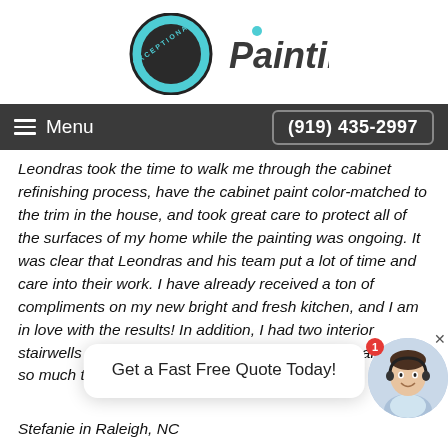[Figure (logo): Exceptional Painting logo with teal paint can and 'Painting' text]
Menu  (919) 435-2997
Leondras took the time to walk me through the cabinet refinishing process, have the cabinet paint color-matched to the trim in the house, and took great care to protect all of the surfaces of my home while the painting was ongoing. It was clear that Leondras and his team put a lot of time and care into their work. I have already received a ton of compliments on my new bright and fresh kitchen, and I am in love with the results! In addition, I had two interior stairwells painted, and they are perfect as well! Thank you so much to Exceptional…
Get a Fast Free Quote Today!
Stefanie in Raleigh, NC